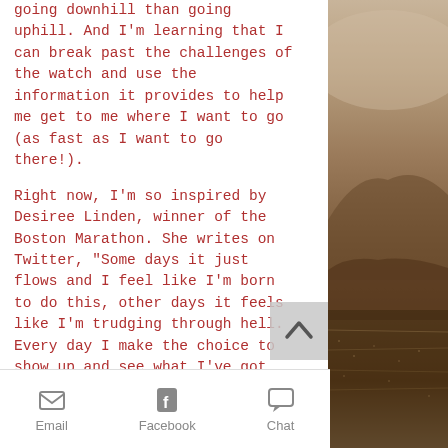going downhill than going uphill. And I'm learning that I can break past the challenges of the watch and use the information it provides to help me get to me where I want to go (as fast as I want to go there!).
Right now, I'm so inspired by Desiree Linden, winner of the Boston Marathon. She writes on Twitter, "Some days it just flows and I feel like I'm born to do this, other days it feels like I'm trudging through hell. Every day I make the choice to show up and see what I've got, and to try and be better. My advice: keep showing up."
What goals are you working towards right
[Figure (photo): Landscape photo showing desert/coastal terrain with muted warm tones — tan sky at top, brown hills in middle, dark shoreline at bottom]
Email   Facebook   Chat